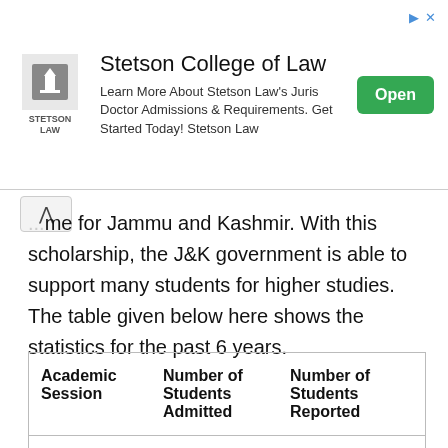[Figure (other): Advertisement banner for Stetson College of Law with logo, description text, and an Open button]
...me for Jammu and Kashmir. With this scholarship, the J&K government is able to support many students for higher studies. The table given below here shows the statistics for the past 6 years.
| Academic Session | Number of Students Admitted | Number of Students Reported |
| --- | --- | --- |
| 2017-18 | 3400 | 2706 + 516 (Diploma Lateral Entry) |